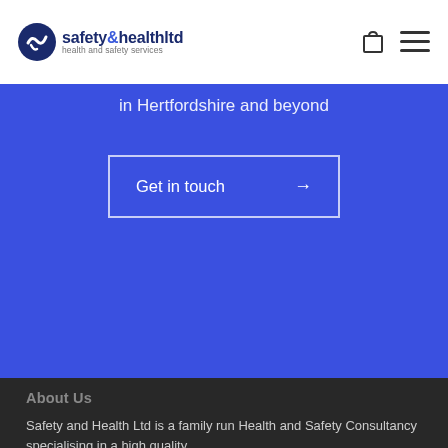safety&healthltd health and safety services
in Hertfordshire and beyond
Get in touch →
About Us
Safety and Health Ltd is a family run Health and Safety Consultancy specialising in a high quality,